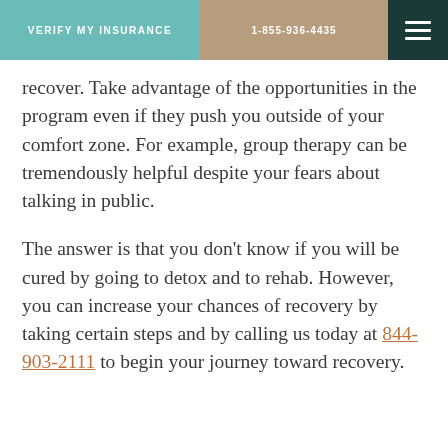VERIFY MY INSURANCE | 1-855-936-4435
recover. Take advantage of the opportunities in the program even if they push you outside of your comfort zone. For example, group therapy can be tremendously helpful despite your fears about talking in public.
The answer is that you don't know if you will be cured by going to detox and to rehab. However, you can increase your chances of recovery by taking certain steps and by calling us today at 844-903-2111 to begin your journey toward recovery.